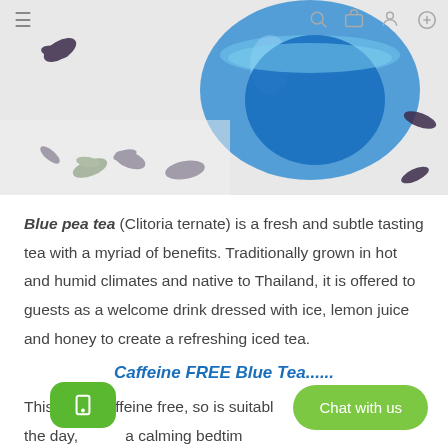[Figure (photo): Hero image showing blue pea tea in a glass cup surrounded by dried blue pea flowers on a white surface, with navigation icons overlaid at top]
Blue pea tea (Clitoria ternate) is a fresh and subtle tasting tea with a myriad of benefits. Traditionally grown in hot and humid climates and native to Thailand, it is offered to guests as a welcome drink dressed with ice, lemon juice and honey to create a refreshing iced tea.
Caffeine FREE Blue Tea......
This tea is caffeine free, so is suitable [any] time of the day, [including] a calming bedtim[e tea].
Blue tea has antioxidant properties due to it's high